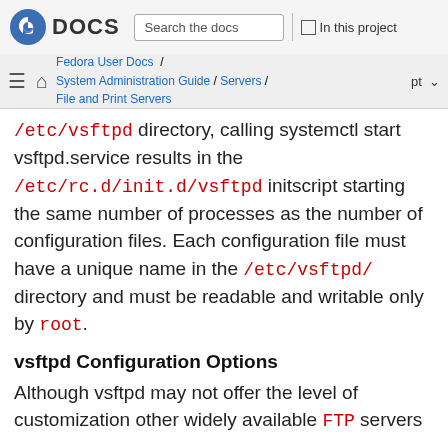Fedora DOCS | Search the docs | In this project
Fedora User Docs / System Administration Guide / Servers / File and Print Servers | pt
/etc/vsftpd directory, calling systemctl start vsftpd.service results in the /etc/rc.d/init.d/vsftpd initscript starting the same number of processes as the number of configuration files. Each configuration file must have a unique name in the /etc/vsftpd/ directory and must be readable and writable only by root.
vsftpd Configuration Options
Although vsftpd may not offer the level of customization other widely available FTP servers